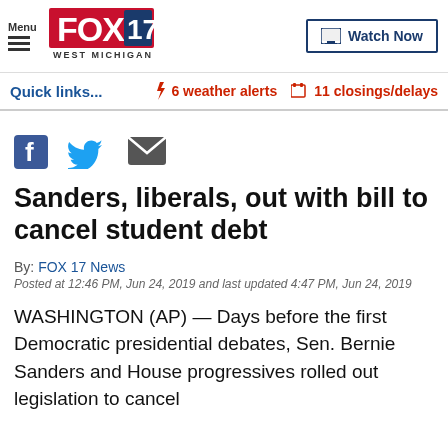[Figure (logo): FOX 17 West Michigan logo with Menu hamburger icon on left and Watch Now button on right]
Quick links...  ⚡ 6 weather alerts  🏠 11 closings/delays
[Figure (infographic): Social sharing icons: Facebook, Twitter, Email]
Sanders, liberals, out with bill to cancel student debt
By: FOX 17 News
Posted at 12:46 PM, Jun 24, 2019 and last updated 4:47 PM, Jun 24, 2019
WASHINGTON (AP) — Days before the first Democratic presidential debates, Sen. Bernie Sanders and House progressives rolled out legislation to cancel